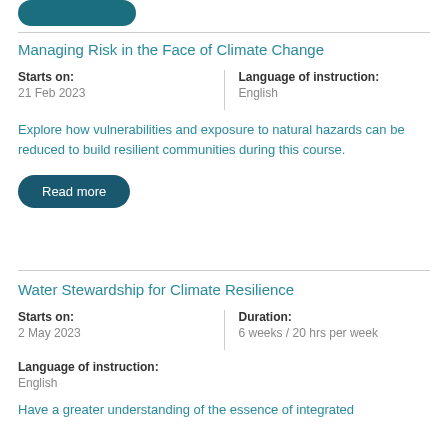[Figure (other): Teal/dark blue rounded button graphic at top]
Managing Risk in the Face of Climate Change
Starts on: 21 Feb 2023 | Language of instruction: English
Explore how vulnerabilities and exposure to natural hazards can be reduced to build resilient communities during this course.
Read more
Water Stewardship for Climate Resilience
Starts on: 2 May 2023 | Duration: 6 weeks / 20 hrs per week
Language of instruction: English
Have a greater understanding of the essence of integrated